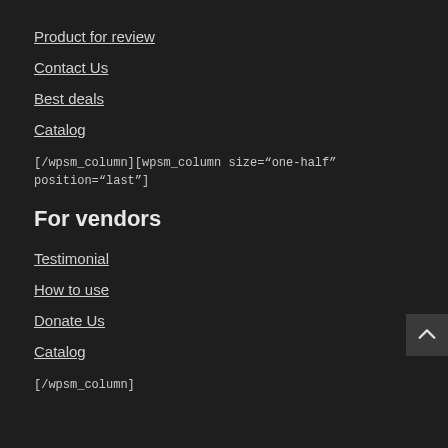Product for review
Contact Us
Best deals
Catalog
[/wpsm_column][wpsm_column size="one-half" position="last"]
For vendors
Testimonial
How to use
Donate Us
Catalog
[/wpsm_column]